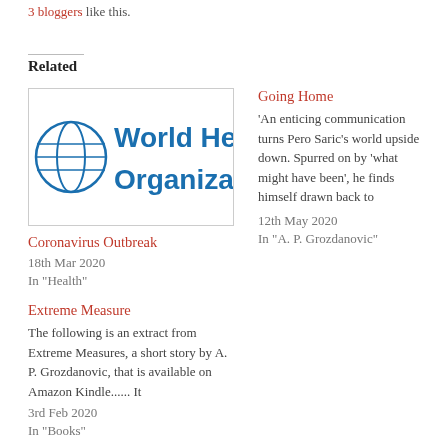3 bloggers like this.
Related
[Figure (logo): World Health Organization logo and text, partially cropped]
Coronavirus Outbreak
18th Mar 2020
In "Health"
Going Home
'An enticing communication turns Pero Saric's world upside down. Spurred on by 'what might have been', he finds himself drawn back to
12th May 2020
In "A. P. Grozdanovic"
Extreme Measure
The following is an extract from Extreme Measures, a short story by A. P. Grozdanovic, that is available on Amazon Kindle...... It
3rd Feb 2020
In "Books"